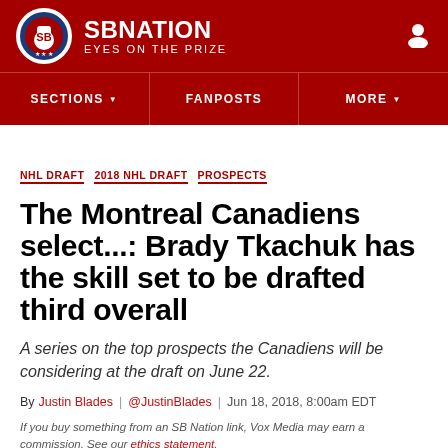SB NATION — EYES ON THE PRIZE
NHL DRAFT  2018 NHL DRAFT  PROSPECTS
The Montreal Canadiens select...: Brady Tkachuk has the skill set to be drafted third overall
A series on the top prospects the Canadiens will be considering at the draft on June 22.
By Justin Blades | @JustinBlades | Jun 18, 2018, 8:00am EDT
If you buy something from an SB Nation link, Vox Media may earn a commission. See our ethics statement.